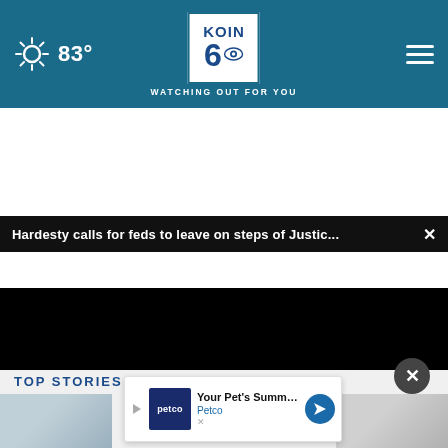KOIN 6 CBS - WATCHING OUT FOR YOU | 83°
Hardesty calls for feds to leave on steps of Justic...
[Figure (screenshot): Video player with black background showing loading spinner and playback controls. Time shows 00:00.]
TOP STORIES
[Figure (infographic): Advertisement overlay: Your Pet's Summer Gear Is Here - Petco]
Your Pet's Summer Gear Is Here - Petco